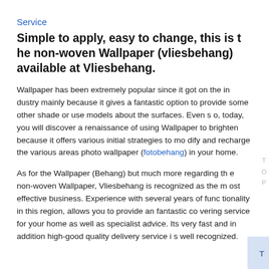Service
Simple to apply, easy to change, this is the non-woven Wallpaper (vliesbehang) available at Vliesbehang.
Wallpaper has been extremely popular since it got on the industry mainly because it gives a fantastic option to provide some other shade or use models about the surfaces. Even so, today, you will discover a renaissance of using Wallpaper to brighten because it offers various initial strategies to modify and recharge the various areas photo wallpaper (fotobehang) in your home.
As for the Wallpaper (Behang) but much more regarding the non-woven Wallpaper, Vliesbehang is recognized as the most effective business. Experience with several years of functionality in this region, allows you to provide an fantastic covering service for your home as well as specialist advice. Its very fast and in addition high-good quality delivery service is well recognized.